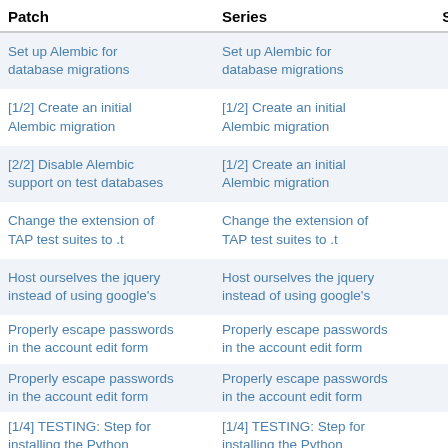| Patch | Series | S/W/F |
| --- | --- | --- |
| Set up Alembic for database migrations | Set up Alembic for database migrations | - - - |
| [1/2] Create an initial Alembic migration | [1/2] Create an initial Alembic migration | - - - |
| [2/2] Disable Alembic support on test databases | [1/2] Create an initial Alembic migration | - - - |
| Change the extension of TAP test suites to .t | Change the extension of TAP test suites to .t | - - - |
| Host ourselves the jquery instead of using google's | Host ourselves the jquery instead of using google's | - - - |
| Properly escape passwords in the account edit form | Properly escape passwords in the account edit form | - - - |
| Properly escape passwords in the account edit form | Properly escape passwords in the account edit form | - - - |
| [1/4] TESTING: Step for installing the Python | [1/4] TESTING: Step for installing the Python | - - - |